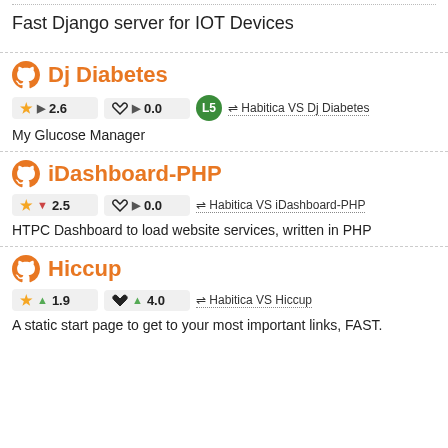Fast Django server for IOT Devices
Dj Diabetes
★ ▶ 2.6   ♥ ▶ 0.0   L5   ⇌ Habitica VS Dj Diabetes
My Glucose Manager
iDashboard-PHP
★ ▼ 2.5   ♥ ▶ 0.0   ⇌ Habitica VS iDashboard-PHP
HTPC Dashboard to load website services, written in PHP
Hiccup
★ ▲ 1.9   ♥ ▲ 4.0   ⇌ Habitica VS Hiccup
A static start page to get to your most important links, FAST.